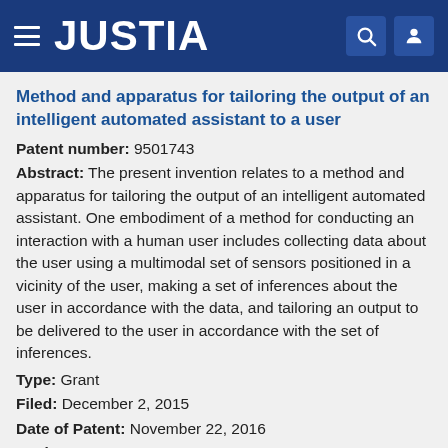JUSTIA
Method and apparatus for tailoring the output of an intelligent automated assistant to a user
Patent number: 9501743
Abstract: The present invention relates to a method and apparatus for tailoring the output of an intelligent automated assistant. One embodiment of a method for conducting an interaction with a human user includes collecting data about the user using a multimodal set of sensors positioned in a vicinity of the user, making a set of inferences about the user in accordance with the data, and tailoring an output to be delivered to the user in accordance with the set of inferences.
Type: Grant
Filed: December 2, 2015
Date of Patent: November 22, 2016
Assignee: SRI INTERNATIONAL